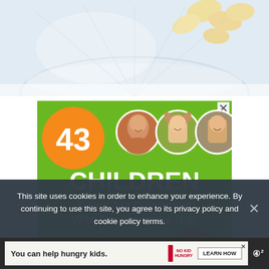[Figure (photo): Top portion of a food photo showing what appears to be a bowl with banana slices and other ingredients, light background]
[Figure (infographic): Cookies for Kids' Cancer advertisement. Green background with orange circle showing number 43. Three circular child photos on right. Text reads: 43 CHILDREN A Day Are Diagnosed With Cancer in the U.S. Cookies for kids' cancer. Let's Get [Baking]. Close X button in top right.]
This site uses cookies in order to enhance your experience. By continuing to use this site, you agree to its privacy policy and cookie policy terms.
[Figure (infographic): Bottom advertisement bar: 'You can help hungry kids.' No Kid Hungry logo. LEARN HOW button. Close X. Mashable logo on right.]